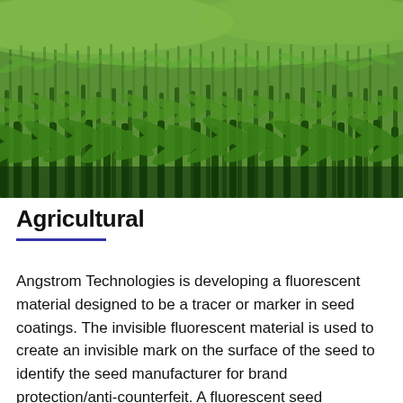[Figure (photo): Aerial/close-up photograph of a green corn field with tall corn stalks filling the entire frame, rolling hills of corn visible in the background.]
Agricultural
Angstrom Technologies is developing a fluorescent material designed to be a tracer or marker in seed coatings. The invisible fluorescent material is used to create an invisible mark on the surface of the seed to identify the seed manufacturer for brand protection/anti-counterfeit. A fluorescent seed